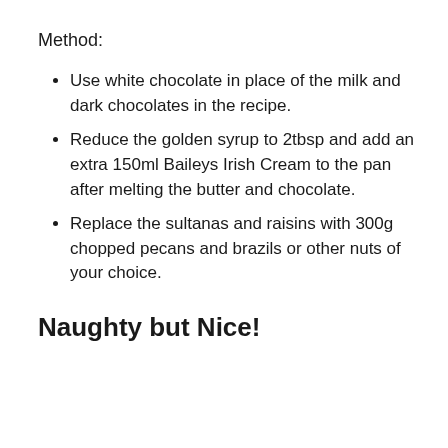Method:
Use white chocolate in place of the milk and dark chocolates in the recipe.
Reduce the golden syrup to 2tbsp and add an extra 150ml Baileys Irish Cream to the pan after melting the butter and chocolate.
Replace the sultanas and raisins with 300g chopped pecans and brazils or other nuts of your choice.
Naughty but Nice!